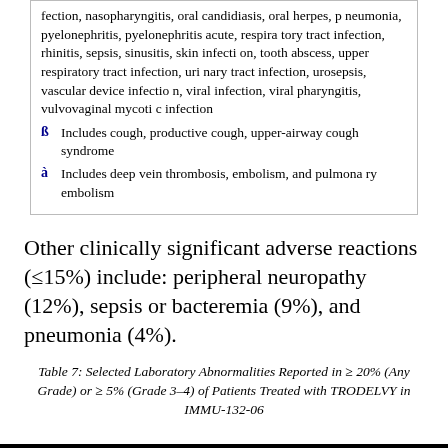fection, nasopharyngitis, oral candidiasis, oral herpes, pneumonia, pyelonephritis, pyelonephritis acute, respiratory tract infection, rhinitis, sepsis, sinusitis, skin infection, tooth abscess, upper respiratory tract infection, urinary tract infection, urosepsis, vascular device infection, viral infection, viral pharyngitis, vulvovaginal mycotic infection
§ Includes cough, productive cough, upper-airway cough syndrome
à Includes deep vein thrombosis, embolism, and pulmonary embolism
Other clinically significant adverse reactions (≤15%) include: peripheral neuropathy (12%), sepsis or bacteremia (9%), and pneumonia (4%).
Table 7: Selected Laboratory Abnormalities Reported in ≥ 20% (Any Grade) or ≥ 5% (Grade 3–4) of Patients Treated with TRODELVY in IMMU-132-06